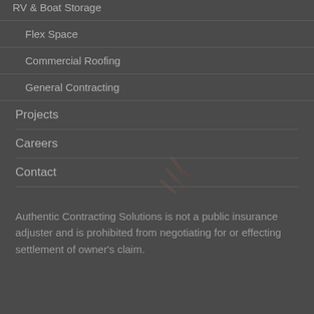RV & Boat Storage
Flex Space
Commercial Roofing
General Contracting
Projects
Careers
Contact
Authentic Contracting Solutions is not a public insurance adjuster and is prohibited from negotiating for or effecting settlement of owner’s claim.